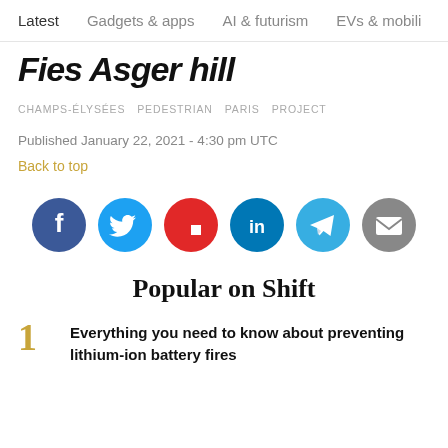Latest  Gadgets & apps  AI & futurism  EVs & mobili >
Fies Asger hill (partial, cropped)
CHAMPS-ÉLYSÉES  PEDESTRIAN  PARIS  PROJECT
Published January 22, 2021 - 4:30 pm UTC
Back to top
[Figure (infographic): Row of six social media share buttons: Facebook (dark blue), Twitter (light blue), Flipboard (red), LinkedIn (dark teal), Telegram (light blue), Email (gray)]
Popular on Shift
Everything you need to know about preventing lithium-ion battery fires